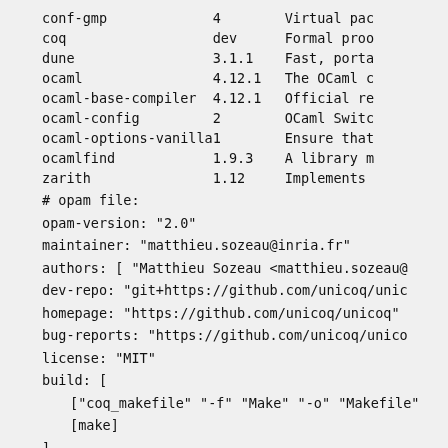| package | version | description |
| --- | --- | --- |
| conf-gmp | 4 | Virtual pac |
| coq | dev | Formal proo |
| dune | 3.1.1 | Fast, porta |
| ocaml | 4.12.1 | The OCaml c |
| ocaml-base-compiler | 4.12.1 | Official re |
| ocaml-config | 2 | OCaml Switc |
| ocaml-options-vanilla | 1 | Ensure that |
| ocamlfind | 1.9.3 | A library m |
| zarith | 1.12 | Implements |
# opam file:
opam-version: "2.0"
maintainer: "matthieu.sozeau@inria.fr"
authors: [ "Matthieu Sozeau <matthieu.sozeau@
dev-repo: "git+https://github.com/unicoq/unic
homepage: "https://github.com/unicoq/unicoq"
bug-reports: "https://github.com/unicoq/unico
license: "MIT"
build: [
  ["coq_makefile" "-f" "Make" "-o" "Makefile"
  [make]
]